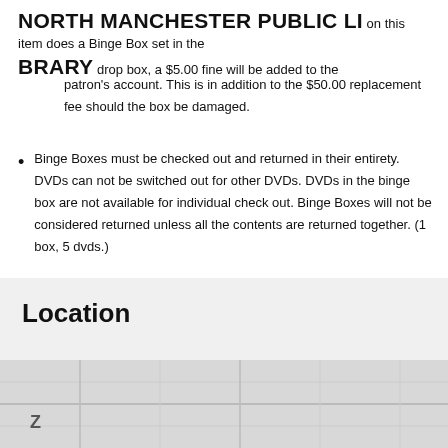NORTH MANCHESTER PUBLIC LIBRARY
on this item does a Binge Box set in the drop box, a $5.00 fine will be added to the patron's account. This is in addition to the $50.00 replacement fee should the box be damaged.
Binge Boxes must be checked out and returned in their entirety. DVDs can not be switched out for other DVDs. DVDs in the binge box are not available for individual check out. Binge Boxes will not be considered returned unless all the contents are returned together. (1 box, 5 dvds.)
Location